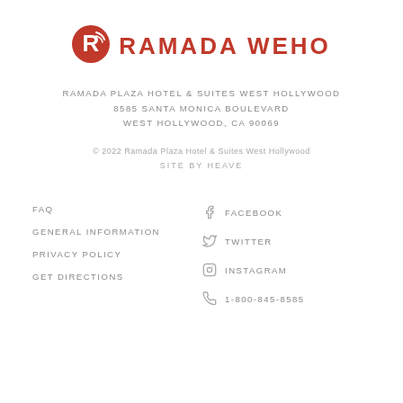[Figure (logo): Ramada logo: red circle with stylized R, followed by RAMADA WEHO in bold red text]
RAMADA PLAZA HOTEL & SUITES WEST HOLLYWOOD
8585 SANTA MONICA BOULEVARD
WEST HOLLYWOOD, CA 90069
© 2022 Ramada Plaza Hotel & Suites West Hollywood
SITE BY HEAVE
FAQ
GENERAL INFORMATION
PRIVACY POLICY
GET DIRECTIONS
FACEBOOK
TWITTER
INSTAGRAM
1-800-845-8585